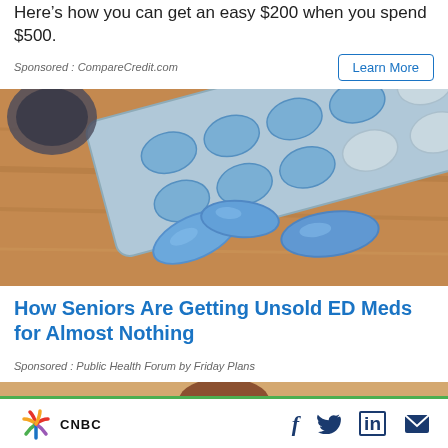Here’s how you can get an easy $200 when you spend $500.
Sponsored : CompareCredit.com
Learn More
[Figure (photo): Photo of blue oval pills/tablets scattered on a wooden surface with a blister pack of blue pills in the background]
How Seniors Are Getting Unsold ED Meds for Almost Nothing
Sponsored : Public Health Forum by Friday Plans
[Figure (photo): Partial image of a person's head, cropped at bottom of page]
CNBC | Facebook | Twitter | LinkedIn | Email